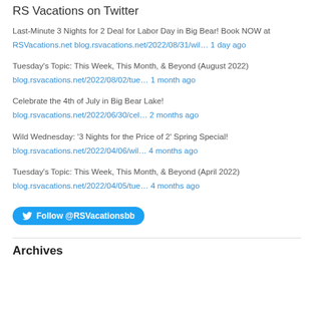RS Vacations on Twitter
Last-Minute 3 Nights for 2 Deal for Labor Day in Big Bear! Book NOW at RSVacations.net blog.rsvacations.net/2022/08/31/wil… 1 day ago
Tuesday's Topic: This Week, This Month, & Beyond (August 2022) blog.rsvacations.net/2022/08/02/tue… 1 month ago
Celebrate the 4th of July in Big Bear Lake! blog.rsvacations.net/2022/06/30/cel… 2 months ago
Wild Wednesday: '3 Nights for the Price of 2' Spring Special! blog.rsvacations.net/2022/04/06/wil… 4 months ago
Tuesday's Topic: This Week, This Month, & Beyond (April 2022) blog.rsvacations.net/2022/04/05/tue… 4 months ago
Follow @RSVacationsbb
Archives